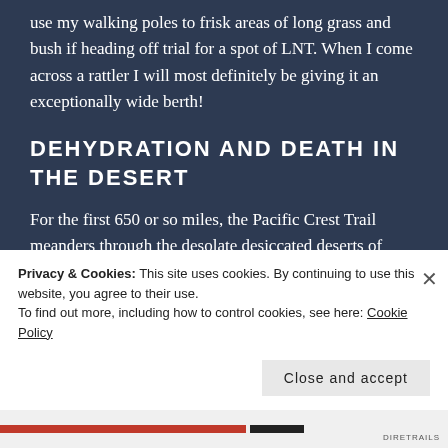use my walking poles to frisk areas of long grass and bush if heading off trial for a spot of LNT. When I come across a rattler I will most definitely be giving it an exceptionally wide berth!
DEHYDRATION AND DEATH IN THE DESERT
For the first 650 or so miles, the Pacific Crest Trail meanders through the desolate desiccated deserts of Southern California. This arid section of the trail is notorious for its long waterless stretches that necessitate ridiculously heavy water hauls. Water is
Privacy & Cookies: This site uses cookies. By continuing to use this website, you agree to their use.
To find out more, including how to control cookies, see here: Cookie Policy
Close and accept